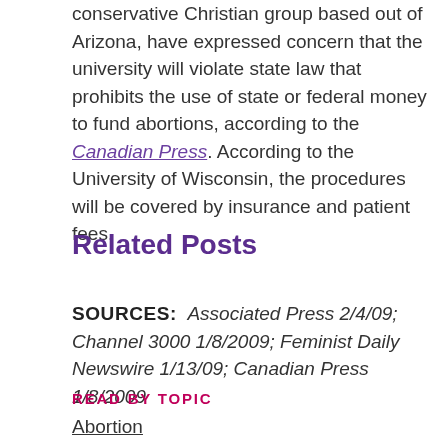conservative Christian group based out of Arizona, have expressed concern that the university will violate state law that prohibits the use of state or federal money to fund abortions, according to the Canadian Press. According to the University of Wisconsin, the procedures will be covered by insurance and patient fees.
Related Posts
SOURCES:  Associated Press 2/4/09; Channel 3000 1/8/2009; Feminist Daily Newswire 1/13/09; Canadian Press 1/8/2009
READ BY TOPIC
Abortion